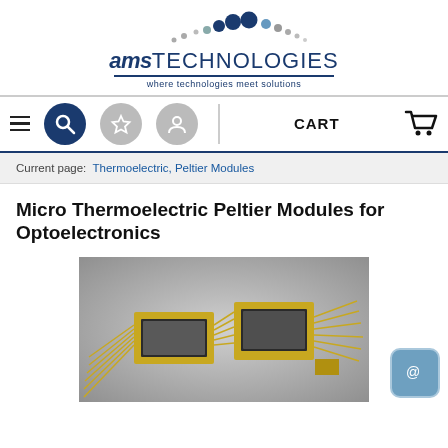[Figure (logo): amsTECHNOLOGIES logo with decorative dots above, tagline 'where technologies meet solutions']
[Figure (screenshot): Navigation bar with hamburger menu, search icon (blue circle), star icon (grey circle), user icon (grey circle), vertical divider, CART label, and shopping cart icon]
Current page: Thermoelectric, Peltier Modules
Micro Thermoelectric Peltier Modules for Optoelectronics
[Figure (photo): Photo of micro thermoelectric Peltier modules for optoelectronics — gold-colored electronic components with thin wire leads on grey background]